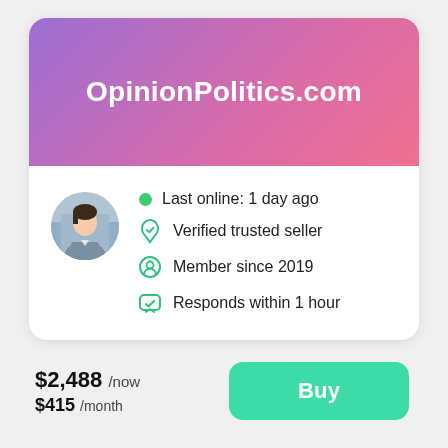OpinionPolitics.com
[Figure (illustration): Profile avatar of a woman in business attire]
Last online: 1 day ago
Verified trusted seller
Member since 2019
Responds within 1 hour
$2,488 /now
$415 /month
Buy